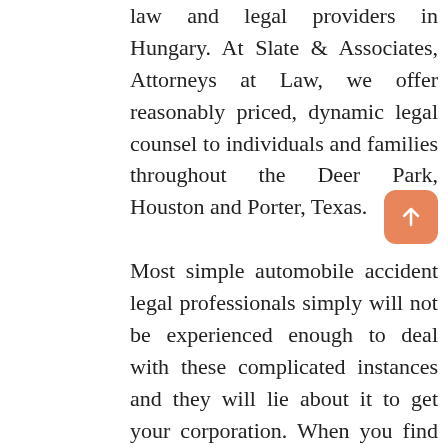law and legal providers in Hungary. At Slate & Associates, Attorneys at Law, we offer reasonably priced, dynamic legal counsel to individuals and families throughout the Deer Park, Houston and Porter, Texas.
Most simple automobile accident legal professionals simply will not be experienced enough to deal with these complicated instances and they will lie about it to get your corporation. When you find yourself looking for a personal harm lawyer, it is important to know that the individual you rent has the experience and talent to correctly handle your case and search the compensation you deserve.
It is critical to have a talented felony defense lawyer fighting for your facet. Taking skilled medical neglect law swimsuit commonly wants